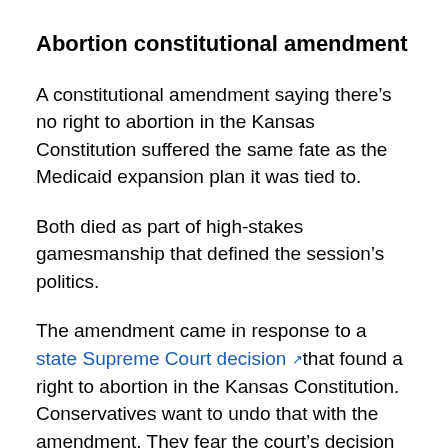Abortion constitutional amendment
A constitutional amendment saying there’s no right to abortion in the Kansas Constitution suffered the same fate as the Medicaid expansion plan it was tied to.
Both died as part of high-stakes gamesmanship that defined the session’s politics.
The amendment came in response to a state Supreme Court decision that found a right to abortion in the Kansas Constitution. Conservatives want to undo that with the amendment. They fear the court’s decision could pave the way for knocking down abortion restrictions already in